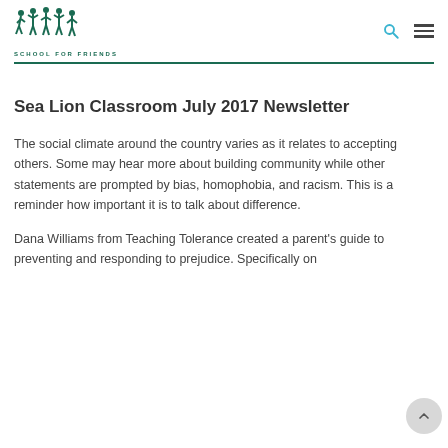SCHOOL FOR FRIENDS
Sea Lion Classroom July 2017 Newsletter
The social climate around the country varies as it relates to accepting others. Some may hear more about building community while other statements are prompted by bias, homophobia, and racism. This is a reminder how important it is to talk about difference.
Dana Williams from Teaching Tolerance created a parent's guide to preventing and responding to prejudice. Specifically on